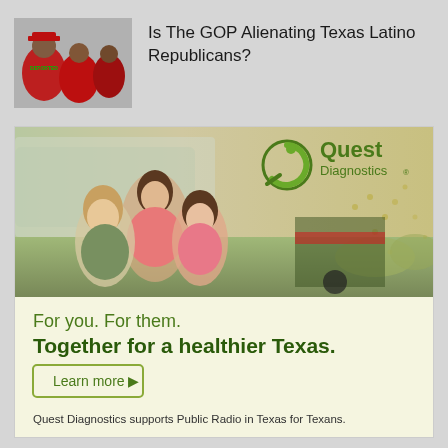[Figure (photo): Thumbnail photo of people wearing red 'DEPORTED' shirts at what appears to be a political rally]
Is The GOP Alienating Texas Latino Republicans?
[Figure (photo): Quest Diagnostics advertisement featuring three girls sitting together outdoors near a vehicle, with Quest Diagnostics logo, tagline 'For you. For them. Together for a healthier Texas.' and a Learn more button]
More in a minute...